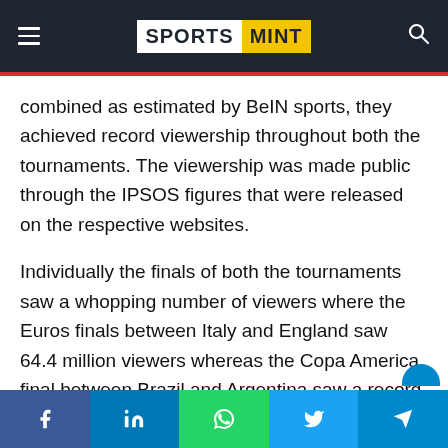SPORTS MINT
combined as estimated by BeIN sports, they achieved record viewership throughout both the tournaments. The viewership was made public through the IPSOS figures that were released on the respective websites.
Individually the finals of both the tournaments saw a whopping number of viewers where the Euros finals between Italy and England saw 64.4 million viewers whereas the Copa America final between Brazil and Argentina saw a record of 36.1 million viewers.
Social share bar: Facebook, LinkedIn, WhatsApp, Twitter, Telegram